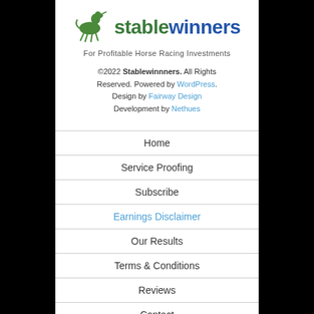[Figure (logo): Stablewinners logo with horse jockey SVG icon, 'stable' in green bold and 'winners' in blue bold, tagline 'For Profitable Horse Racing Investments']
©2022 Stablewinnners. All Rights Reserved. Powered by WordPress. Design by Fairway Design Development by Nethues
Home
Service Proofing
Subscribe
Earnings Disclaimer
Our Results
Terms & Conditions
Reviews
Contact
Our Service
Sitemap